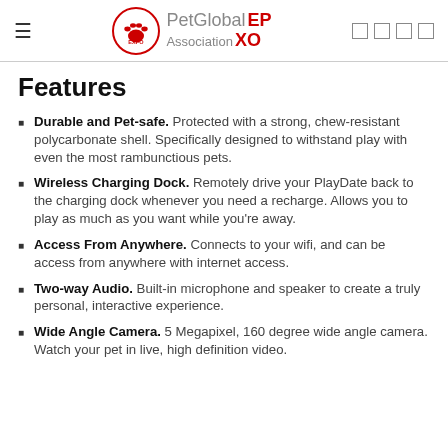PetGlobal EP Association XO
Features
Durable and Pet-safe. Protected with a strong, chew-resistant polycarbonate shell. Specifically designed to withstand play with even the most rambunctious pets.
Wireless Charging Dock. Remotely drive your PlayDate back to the charging dock whenever you need a recharge. Allows you to play as much as you want while you're away.
Access From Anywhere. Connects to your wifi, and can be access from anywhere with internet access.
Two-way Audio. Built-in microphone and speaker to create a truly personal, interactive experience.
Wide Angle Camera. 5 Megapixel, 160 degree wide angle camera. Watch your pet in live, high definition video.